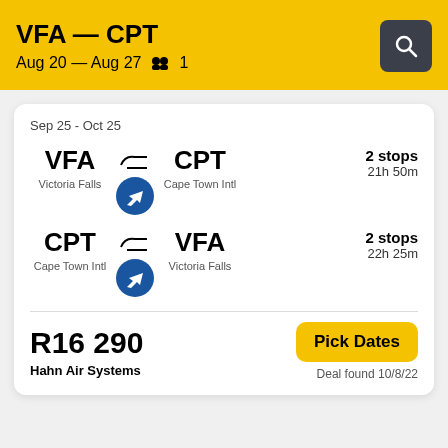VFA — CPT
Aug 20 — Aug 27  1
Sep 25 - Oct 25
VFA  Victoria Falls  →  CPT  Cape Town Intl  2 stops  21h 50m
CPT  Cape Town Intl  →  VFA  Victoria Falls  2 stops  22h 25m
R16 290
Hahn Air Systems
Pick Dates
Deal found 10/8/22